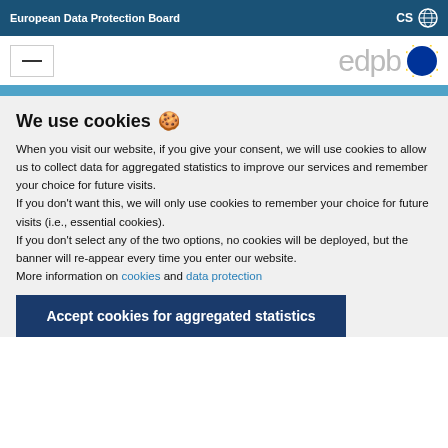European Data Protection Board   CS
[Figure (logo): EDPB logo with hamburger menu icon and EU flag circle]
We use cookies 🍪
When you visit our website, if you give your consent, we will use cookies to allow us to collect data for aggregated statistics to improve our services and remember your choice for future visits.
If you don't want this, we will only use cookies to remember your choice for future visits (i.e., essential cookies).
If you don't select any of the two options, no cookies will be deployed, but the banner will re-appear every time you enter our website.
More information on cookies and data protection
Accept cookies for aggregated statistics